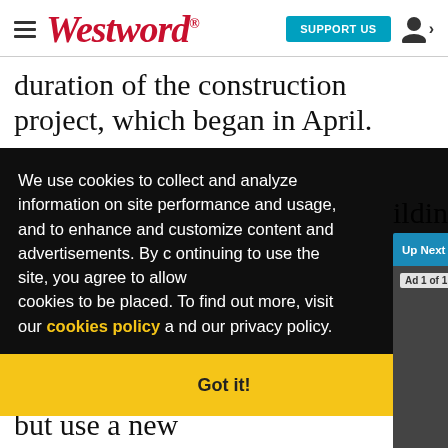Westword - SUPPORT US
duration of the construction project, which began in April.
[Figure (screenshot): Cookie consent overlay on Westword website reading: We use cookies to collect and analyze information on site performance and usage, and to enhance and customize content and advertisements. By continuing to use the site, you agree to allow cookies to be placed. To find out more, visit our cookies policy and our privacy policy. Got it!]
[Figure (screenshot): Video popup showing 'Up Next - Sponsored Content - Bud Blac...' with a close X button, ad label 'Ad 1 of 1 (0:30)', mute button, and video thumbnail of a man in Colorado Rockies gear with Bank of Colorado branding in background. ROCRIES.com logo visible.]
"We're trying to honor the design but use a new